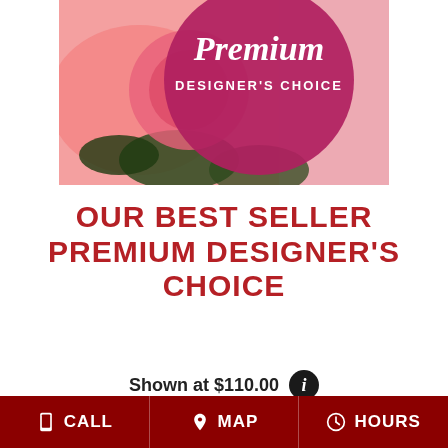[Figure (photo): Floral arrangement photo with pink roses and greenery, overlaid with a magenta circle badge reading 'Premium DESIGNER'S CHOICE' in white text]
OUR BEST SELLER PREMIUM DESIGNER'S CHOICE
Shown at $110.00
BUY NOW
CALL  MAP  HOURS